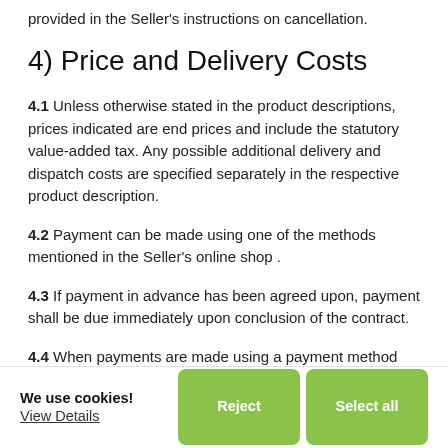provided in the Seller's instructions on cancellation.
4) Price and Delivery Costs
4.1 Unless otherwise stated in the product descriptions, prices indicated are end prices and include the statutory value-added tax. Any possible additional delivery and dispatch costs are specified separately in the respective product description.
4.2 Payment can be made using one of the methods mentioned in the Seller's online shop .
4.3 If payment in advance has been agreed upon, payment shall be due immediately upon conclusion of the contract.
4.4 When payments are made using a payment method
We use cookies!
View Details
Reject
Select all